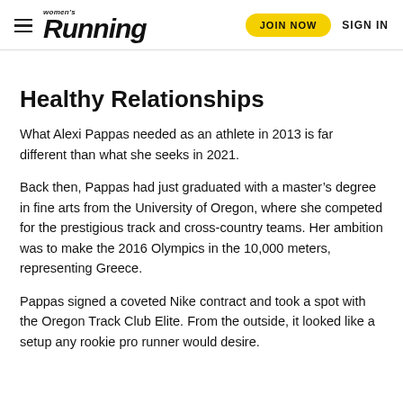women's Running | JOIN NOW | SIGN IN
Healthy Relationships
What Alexi Pappas needed as an athlete in 2013 is far different than what she seeks in 2021.
Back then, Pappas had just graduated with a master’s degree in fine arts from the University of Oregon, where she competed for the prestigious track and cross-country teams. Her ambition was to make the 2016 Olympics in the 10,000 meters, representing Greece.
Pappas signed a coveted Nike contract and took a spot with the Oregon Track Club Elite. From the outside, it looked like a setup any rookie pro runner would desire.